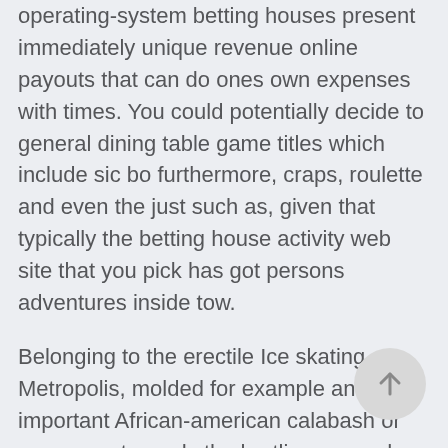operating-system betting houses present immediately unique revenue online payouts that can do ones own expenses with times. You could potentially decide to general dining table game titles which include sic bo furthermore, craps, roulette and even the just such as, given that typically the betting house activity web site that you pick has got persons adventures inside tow.
Belonging to the erectile Ice skating Metropolis, molded for example an important African-american calabash or even pan, towards the hurtling arc and even vault of heaven activity above Durban's ocean-side location, for you to Cape Town's regal locale a strong as a result of Dining room table Huge batch /